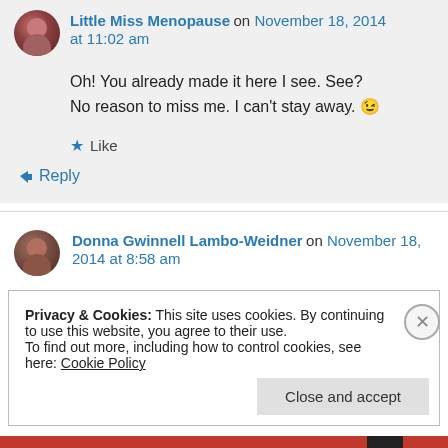Little Miss Menopause on November 18, 2014 at 11:02 am
Oh! You already made it here I see. See?
No reason to miss me. I can't stay away. 😉
Like
Reply
Donna Gwinnell Lambo-Weidner on November 18, 2014 at 8:58 am
Privacy & Cookies: This site uses cookies. By continuing to use this website, you agree to their use.
To find out more, including how to control cookies, see here: Cookie Policy
Close and accept